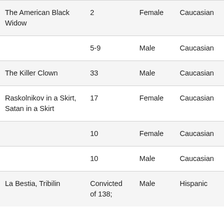| Alias/Moniker | Victims | Sex | Race/Ethnicity | (cut) |
| --- | --- | --- | --- | --- |
| The American Black Widow | 2 | Female | Caucasian |  |
|  | 5-9 | Male | Caucasian |  |
| The Killer Clown | 33 | Male | Caucasian |  |
| Raskolnikov in a Skirt, Satan in a Skirt | 17 | Female | Caucasian |  |
|  | 10 | Female | Caucasian |  |
|  | 10 | Male | Caucasian |  |
| La Bestia, Tribilin | Convicted of 138; | Male | Hispanic |  |